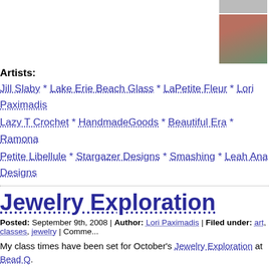[Figure (photo): Row of cropped product/craft photos at top of page (partially visible)]
[Figure (photo): Second row of four craft/jewelry product photos]
Artists:
Jill Slaby * Lake Erie Beach Glass * LaPetite Fleur * Lori Paximadis
Lazy T Crochet * HandmadeGoods * Beautiful Era * Ramona
Petite Libellule * Stargazer Designs * Smashing * Leah Ana Designs
Jewelry Exploration
Posted: September 9th, 2008 | Author: Lori Paximadis | Filed under: art, classes, jewelry | Comme...
My class times have been set for October's Jewelry Exploration at Bead Q.
I'll be teaching etching on Saturday, October 25, 9 a.m. – 12:30 p.m. in Chagrin Fa... 26, 12:30–3:30 p.m. in North Olmsted.
Additionally, I will be teaching Beading 101: Necklaces and Bracelets on Saturday, Oc... North Olmsted. This is a beginner stringing class in which you will learn about differe...